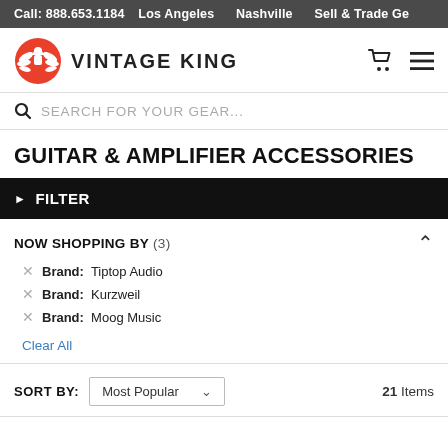Call: 888.653.1184   Los Angeles   Nashville   Sell & Trade Ge…
[Figure (logo): Vintage King logo: red starburst/crown icon with stylized figure, next to text VINTAGE KING in bold black uppercase]
GUITAR & AMPLIFIER ACCESSORIES
▶ FILTER
NOW SHOPPING BY (3)
Brand: Tiptop Audio
Brand: Kurzweil
Brand: Moog Music
Clear All
SORT BY: Most Popular   21 Items